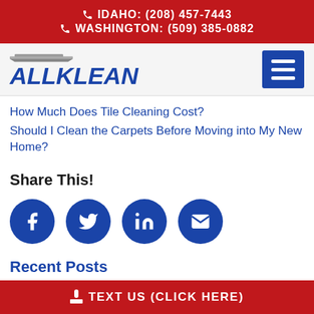📞 IDAHO: (208) 457-7443 📞 WASHINGTON: (509) 385-0882
[Figure (logo): AllKlean company logo with broom icon and blue italic text, plus hamburger menu button]
How Much Does Tile Cleaning Cost?
Should I Clean the Carpets Before Moving into My New Home?
Share This!
[Figure (infographic): Four blue circular social share buttons: Facebook, Twitter, LinkedIn, Email]
Recent Posts
📱 TEXT US (CLICK HERE)